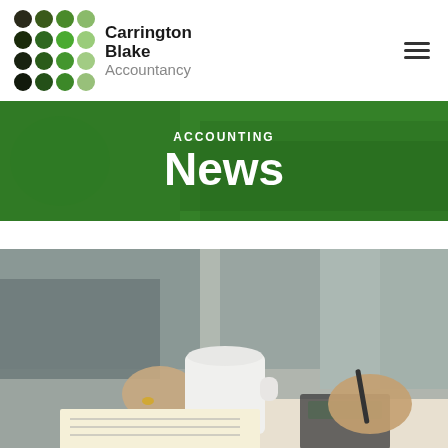[Figure (logo): Carrington Blake Accountancy logo with a 4x4 grid of green/dark dots and bold text]
Carrington Blake Accountancy
ACCOUNTING News
[Figure (photo): Photo of person at desk holding coffee mug and pen, working with papers and calculator]